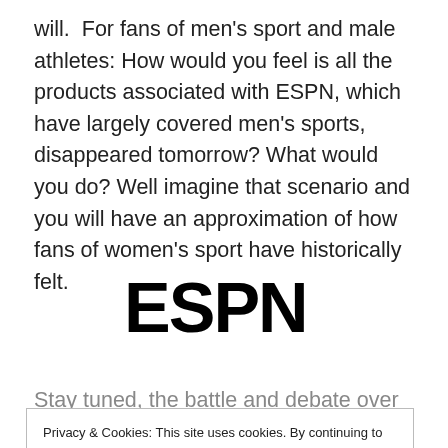will.  For fans of men's sport and male athletes: How would you feel is all the products associated with ESPN, which have largely covered men's sports, disappeared tomorrow? What would you do? Well imagine that scenario and you will have an approximation of how fans of women's sport have historically felt.
[Figure (logo): ESPN logo in bold black text]
Stay tuned, the battle and debate over the contested
Privacy & Cookies: This site uses cookies. By continuing to use this website, you agree to their use. To find out more, including how to control cookies, see here: Cookie Policy
Close and accept